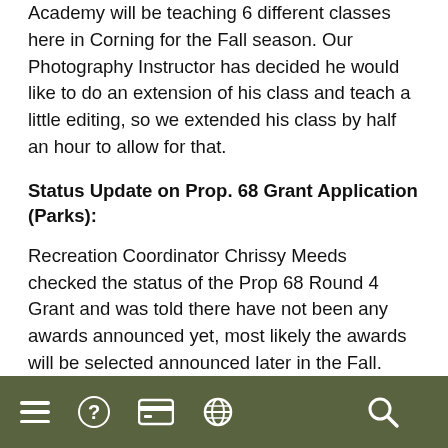Academy will be teaching 6 different classes here in Corning for the Fall season.  Our Photography Instructor has decided he would like to do an extension of his class and teach a little editing, so we extended his class by half an hour to allow for that.
Status Update on Prop. 68 Grant Application (Parks):
Recreation Coordinator Chrissy Meeds checked the status of the Prop 68 Round 4 Grant and was told there have not been any awards announced yet, most likely the awards will be selected announced later in the Fall.
PUBLIC WORKS:
Community Events:
[Figure (other): Dark olive green footer navigation bar with icons: hamburger menu, question mark, credit card, globe, and search magnifying glass.]